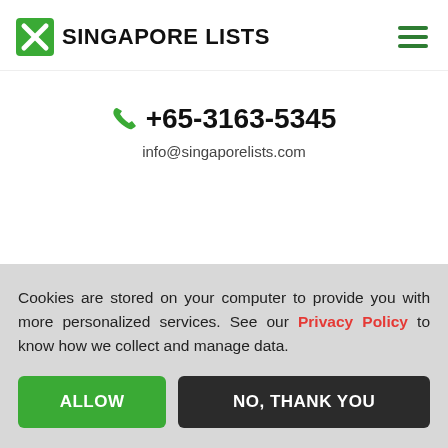SINGAPORE LISTS
+65-3163-5345
info@singaporelists.com
Cookies are stored on your computer to provide you with more personalized services. See our Privacy Policy to know how we collect and manage data.
ALLOW
NO, THANK YOU